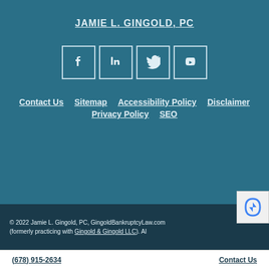JAMIE L. GINGOLD, PC
[Figure (other): Social media icons: Facebook, LinkedIn, Twitter, YouTube in outlined square boxes]
Contact Us | Sitemap | Accessibility Policy | Disclaimer | Privacy Policy | SEO
© 2022 Jamie L. Gingold, PC, GingoldBankruptcyLaw.com (formerly practicing with Gingold & Gingold LLC). Al...
(678) 915-2634   Contact Us